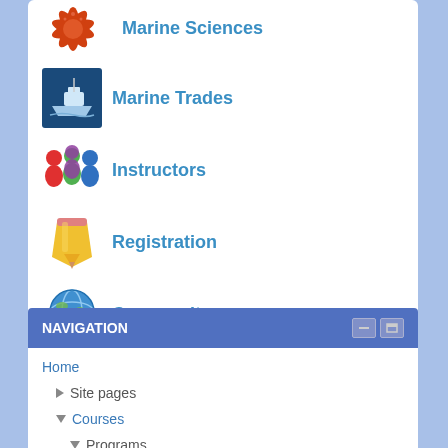[Figure (illustration): Starfish (orange/red) icon for Marine Sciences link]
Marine Sciences
[Figure (illustration): Boat icon on dark blue background for Marine Trades link]
Marine Trades
[Figure (illustration): Colorful people/figures icon for Instructors link]
Instructors
[Figure (illustration): Yellow pencil icon for Registration link]
Registration
[Figure (illustration): Globe with people around it icon for Community link]
Community
NAVIGATION
Home
Site pages
Courses
Programs
Modern Languages
Academic Honours Seminar